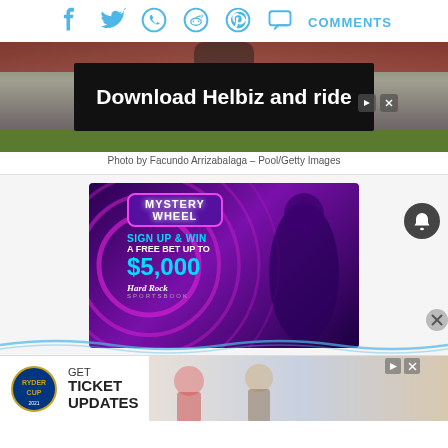Social share icons: Facebook, Twitter, WhatsApp, Reddit, Pinterest, Comments
[Figure (photo): Sports photo background — person on bicycle/scooter, grass and red wall in background]
[Figure (infographic): Helbiz advertisement overlay: 'Download Helbiz and ride']
Photo by Facundo Arrizabalaga – Pool/Getty Images
[Figure (infographic): Hard Rock Sportsbook Mystery Wheel advertisement: 'MYSTERY WHEEL — SIGN UP & WIN A FREE BET UP TO $5,000 — Hard Rock Sportsbook']
[Figure (infographic): Ryder Cup advertisement: 'GET TICKET UPDATES' with Ryder Cup logo and golf players photo]